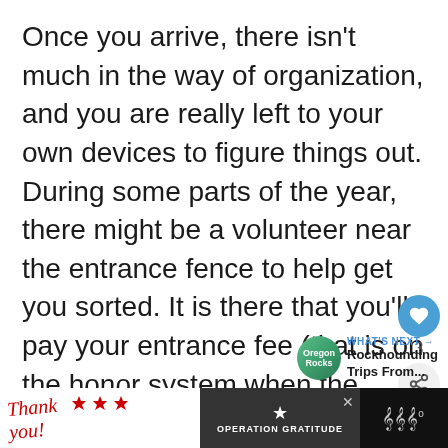Once you arrive, there isn't much in the way of organization, and you are really left to your own devices to figure things out. During some parts of the year, there might be a volunteer near the entrance fence to help get you sorted. It is there that you'll pay your entrance fee (that is on the honor system when the volunteer is not present).
[Figure (screenshot): UI overlay with heart/like button showing count of 3 and a share button]
[Figure (screenshot): What's Next widget with Oregon Rocks logo linking to Rockhounding Trips From...]
[Figure (screenshot): Advertisement banner at bottom for Operation Gratitude with thank you text and military imagery]